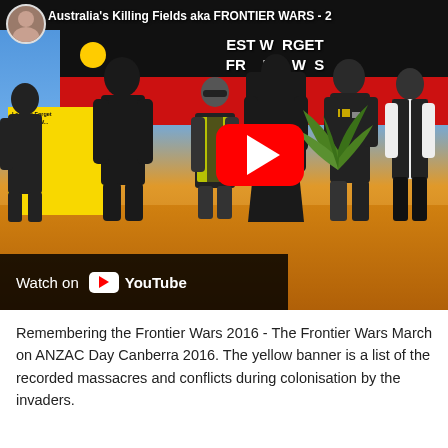[Figure (screenshot): YouTube video thumbnail showing the Frontier Wars March on ANZAC Day Canberra 2016. Several people dressed in black stand on red/orange ground in front of red and black Aboriginal flag banners reading 'LEST WE FORGET FRONTIER WARS'. A police officer in hi-vis vest is visible. A red YouTube play button is overlaid. The video title at top reads 'Australia's Killing Fields aka FRONTIER WARS - 2'. Channel avatar and title visible top-left. 'Watch on YouTube' bar at bottom-left.]
Remembering the Frontier Wars 2016 - The Frontier Wars March on ANZAC Day Canberra 2016. The yellow banner is a list of the recorded massacres and conflicts during colonisation by the invaders.